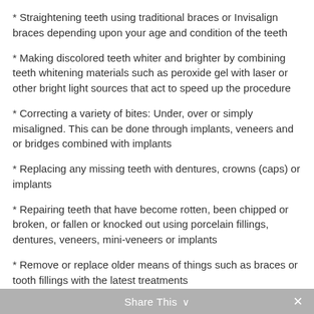* Straightening teeth using traditional braces or Invisalign braces depending upon your age and condition of the teeth
* Making discolored teeth whiter and brighter by combining teeth whitening materials such as peroxide gel with laser or other bright light sources that act to speed up the procedure
* Correcting a variety of bites: Under, over or simply misaligned. This can be done through implants, veneers and or bridges combined with implants
* Replacing any missing teeth with dentures, crowns (caps) or implants
* Repairing teeth that have become rotten, been chipped or broken, or fallen or knocked out using porcelain fillings, dentures, veneers, mini-veneers or implants
* Remove or replace older means of things such as braces or tooth fillings with the latest treatments
Share This ∨  ✕